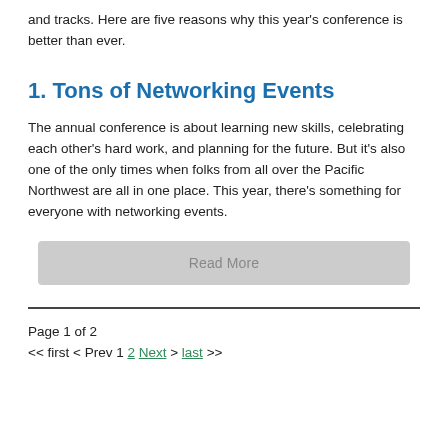and tracks. Here are five reasons why this year's conference is better than ever.
1. Tons of Networking Events
The annual conference is about learning new skills, celebrating each other's hard work, and planning for the future. But it's also one of the only times when folks from all over the Pacific Northwest are all in one place. This year, there's something for everyone with networking events.
Read More
Page 1 of 2
<< first < Prev 1 2 Next > last >>